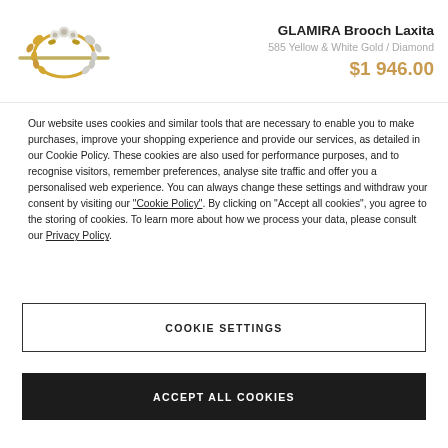GLAMIRA Brooch Laxita
585 Yellow & White Gold / Diamond
$1 946.00
Our website uses cookies and similar tools that are necessary to enable you to make purchases, improve your shopping experience and provide our services, as detailed in our Cookie Policy. These cookies are also used for performance purposes, and to recognise visitors, remember preferences, analyse site traffic and offer you a personalised web experience. You can always change these settings and withdraw your consent by visiting our “Cookie Policy”. By clicking on “Accept all cookies”, you agree to the storing of cookies. To learn more about how we process your data, please consult our Privacy Policy.
COOKIE SETTINGS
ACCEPT ALL COOKIES